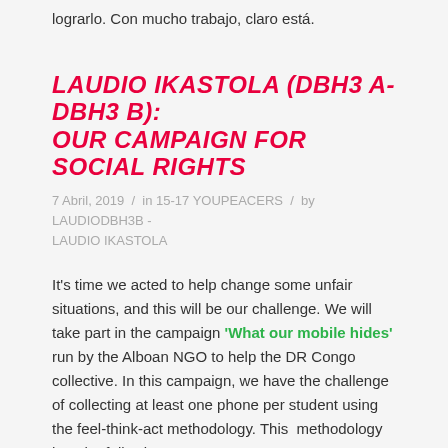lograrlo. Con mucho trabajo, claro está.
LAUDIO IKASTOLA (DBH3 A-DBH3 B): OUR CAMPAIGN FOR SOCIAL RIGHTS
7 Abril, 2019 / in 15-17 YOUPEACERS / by LAUDIODBH3B - LAUDIO IKASTOLA
It's time we acted to help change some unfair situations, and this will be our challenge. We will take part in the campaign 'What our mobile hides' run by the Alboan NGO to help the DR Congo collective. In this campaign, we have the challenge of collecting at least one phone per student using the feel-think-act methodology. This methodology has the following steps: